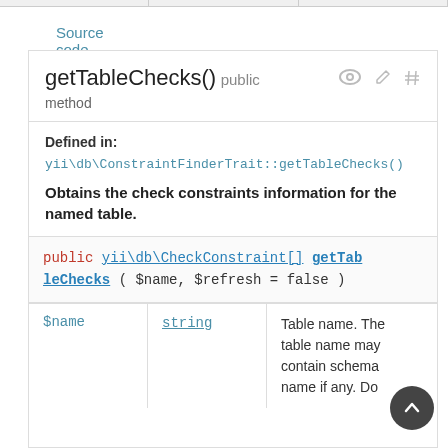Source code
getTableChecks() public method
Defined in:
yii\db\ConstraintFinderTrait::getTableChecks()
Obtains the check constraints information for the named table.
public yii\db\CheckConstraint[] getTableChecks ( $name, $refresh = false )
| Parameter | Type | Description |
| --- | --- | --- |
| $name | string | Table name. The table name may contain schema name if any. Do |